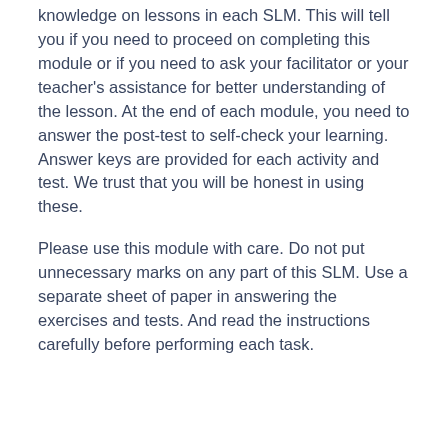knowledge on lessons in each SLM. This will tell you if you need to proceed on completing this module or if you need to ask your facilitator or your teacher's assistance for better understanding of the lesson. At the end of each module, you need to answer the post-test to self-check your learning. Answer keys are provided for each activity and test. We trust that you will be honest in using these.
Please use this module with care. Do not put unnecessary marks on any part of this SLM. Use a separate sheet of paper in answering the exercises and tests. And read the instructions carefully before performing each task.